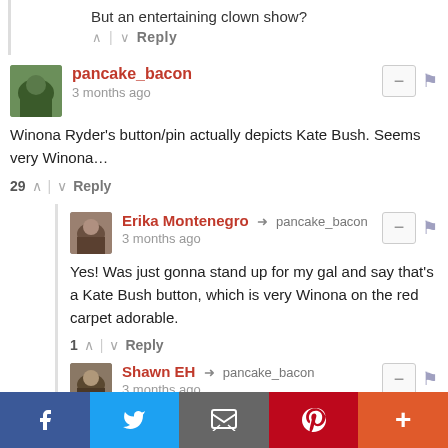But an entertaining clown show?
^ | v  Reply
pancake_bacon — 3 months ago
Winona Ryder's button/pin actually depicts Kate Bush. Seems very Winona…
29 ^ | v  Reply
Erika Montenegro → pancake_bacon — 3 months ago
Yes! Was just gonna stand up for my gal and say that's a Kate Bush button, which is very Winona on the red carpet adorable.
1 ^ | v  Reply
Shawn EH → pancake_bacon — 3 months ago
From one muse to another!